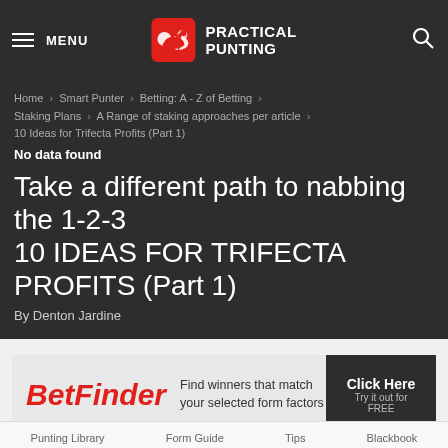MENU — PRACTICAL PUNTING
Home > Smart Punter > Betting: A - Z of Betting > Staking Plans > A Range of staking approaches per article > 10 Ideas for Trifecta Profits (Part 1)
No data found
Take a different path to nabbing the 1-2-3
10 IDEAS FOR TRIFECTA PROFITS (Part 1)
By Denton Jardine
[Figure (infographic): BetFinder advertisement banner: red italic BetFinder logo on left, text 'Find winners that match your selected form factors', dark button on right reading 'Click Here / Try it out for FREE']
Punting Library   Form Guide   Tips   Blackbook